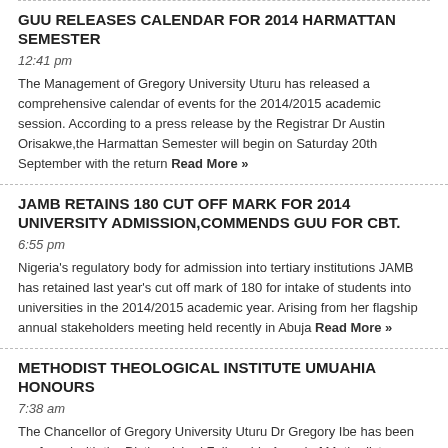GUU RELEASES CALENDAR FOR 2014 HARMATTAN SEMESTER
12:41 pm
The Management of Gregory University Uturu has released a comprehensive calendar of events for the 2014/2015 academic session. According to a press release by the Registrar Dr Austin Orisakwe,the Harmattan Semester will begin on Saturday 20th September with the return Read More »
JAMB RETAINS 180 CUT OFF MARK FOR 2014 UNIVERSITY ADMISSION,COMMENDS GUU FOR CBT.
6:55 pm
Nigeria's regulatory body for admission into tertiary institutions JAMB has retained last year's cut off mark of 180 for intake of students into universities in the 2014/2015 academic year. Arising from her flagship annual stakeholders meeting held recently in Abuja Read More »
METHODIST THEOLOGICAL INSTITUTE UMUAHIA HONOURS
7:38 am
The Chancellor of Gregory University Uturu Dr Gregory Ibe has been conferred with the Distinguished Fellowship Award of Methodist